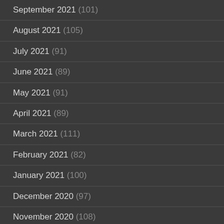September 2021 (101)
August 2021 (105)
July 2021 (91)
June 2021 (89)
May 2021 (91)
April 2021 (89)
March 2021 (111)
February 2021 (82)
January 2021 (100)
December 2020 (97)
November 2020 (108)
October 2020 (83)
September 2020 (100)